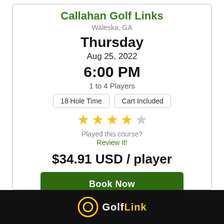Callahan Golf Links
Waleska, GA
Thursday
Aug 25, 2022
6:00 PM
1 to 4 Players
18 Hole Time
Cart Included
[Figure (other): 4 out of 5 star rating displayed with gold and grey star icons]
Played this course?
Review It!
$34.91 USD / player
Book Now
GolfLink logo